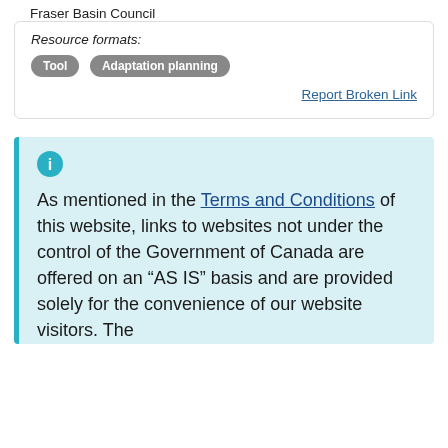Fraser Basin Council
Resource formats:
Tool
Adaptation planning
Report Broken Link
As mentioned in the Terms and Conditions of this website, links to websites not under the control of the Government of Canada are offered on an “AS IS” basis and are provided solely for the convenience of our website visitors. The